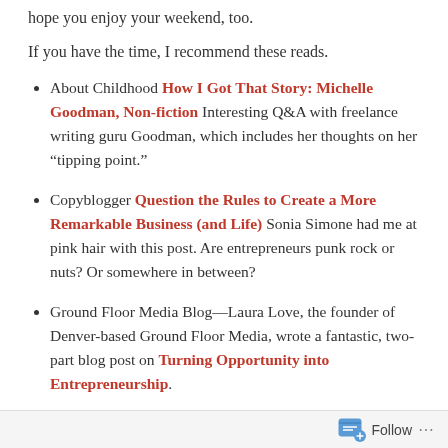hope you enjoy your weekend, too.
If you have the time, I recommend these reads.
About Childhood How I Got That Story: Michelle Goodman, Non-fiction Interesting Q&A with freelance writing guru Goodman, which includes her thoughts on her “tipping point.”
Copyblogger Question the Rules to Create a More Remarkable Business (and Life) Sonia Simone had me at pink hair with this post. Are entrepreneurs punk rock or nuts? Or somewhere in between?
Ground Floor Media Blog—Laura Love, the founder of Denver-based Ground Floor Media, wrote a fantastic, two-part blog post on Turning Opportunity into Entrepreneurship.
Follow